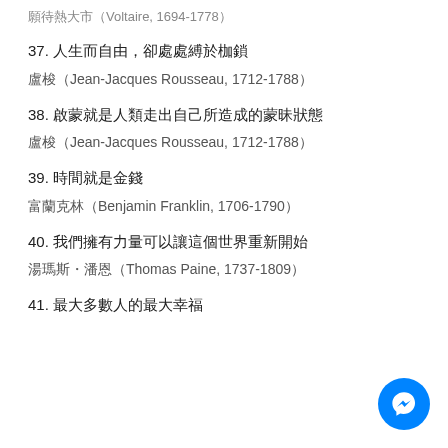願待熱大市（Voltaire, 1694-1778）
37. 人生而自由，卻處處縛於枷鎖
盧梭（Jean-Jacques Rousseau, 1712-1788）
38. 啟蒙就是人類走出自己所造成的蒙昧狀態
盧梭（Jean-Jacques Rousseau, 1712-1788）
39. 時間就是金錢
富蘭克林（Benjamin Franklin, 1706-1790）
40. 我們擁有力量可以讓這個世界重新開始
湯瑪斯・潘恩（Thomas Paine, 1737-1809）
41. 最大多數人的最大幸福